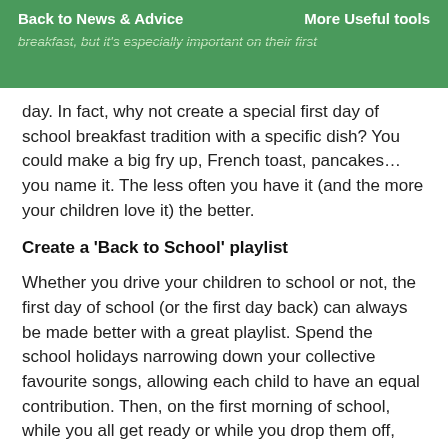Back to News & Advice   More Useful tools   ...it every day... breakfast, but it's especially important on their first
day. In fact, why not create a special first day of school breakfast tradition with a specific dish? You could make a big fry up, French toast, pancakes... you name it. The less often you have it (and the more your children love it) the better.
Create a 'Back to School' playlist
Whether you drive your children to school or not, the first day of school (or the first day back) can always be made better with a great playlist. Spend the school holidays narrowing down your collective favourite songs, allowing each child to have an equal contribution. Then, on the first morning of school, while you all get ready or while you drop them off, blast it while you all sing along together.